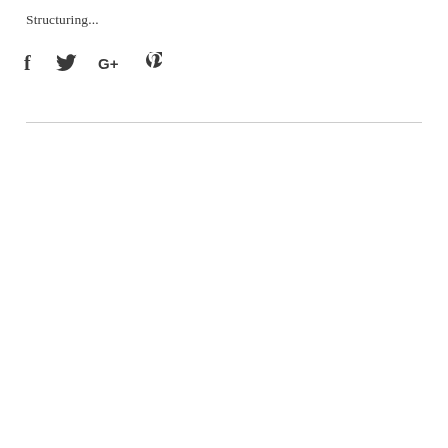Structuring...
[Figure (other): Social media share icons: Facebook (f), Twitter (bird), Google+ (G+), Pinterest (P)]